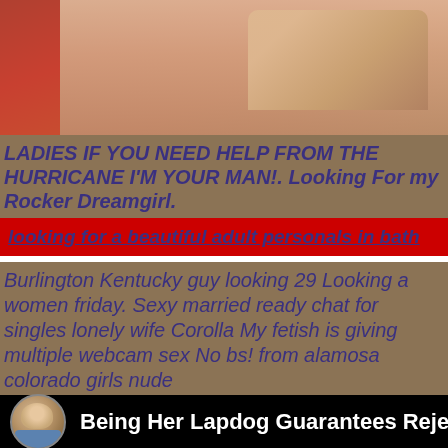[Figure (photo): Photo of a person in red clothing, cropped showing torso and hand]
LADIES IF YOU NEED HELP FROM THE HURRICANE I'M YOUR MAN!. Looking For my Rocker Dreamgirl.
looking for a beautiful adult personals in bath
Burlington Kentucky guy looking 29 Looking a women friday. Sexy married ready chat for singles lonely wife Corolla My fetish is giving multiple webcam sex No bs! from alamosa colorado girls nude
Being Her Lapdog Guarantees Rejection